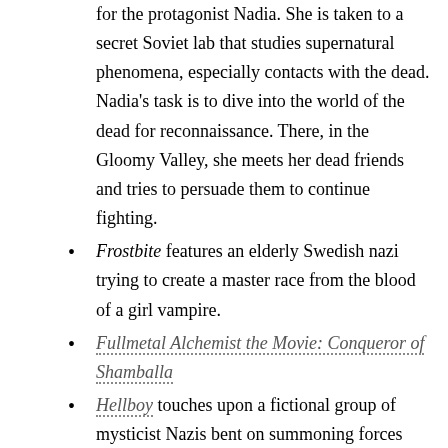(continuation) for the protagonist Nadia. She is taken to a secret Soviet lab that studies supernatural phenomena, especially contacts with the dead. Nadia's task is to dive into the world of the dead for reconnaissance. There, in the Gloomy Valley, she meets her dead friends and tries to persuade them to continue fighting.
Frostbite features an elderly Swedish nazi trying to create a master race from the blood of a girl vampire.
Fullmetal Alchemist the Movie: Conqueror of Shamballa
Hellboy touches upon a fictional group of mysticist Nazis bent on summoning forces from other dimensions.
Hellsing features a surviving branch of the SS